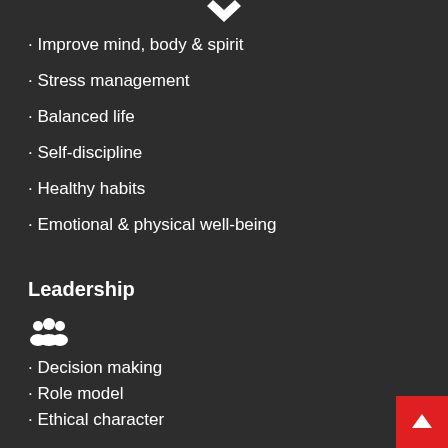[Figure (illustration): Small diamond/heart icon at top center]
Improve mind, body & spirit
Stress management
Balanced life
Self-discipline
Healthy habits
Emotional & physical well-being
Leadership
[Figure (illustration): People/group icon]
Decision making
Role model
Ethical character
Sportsmanship
Strong morals